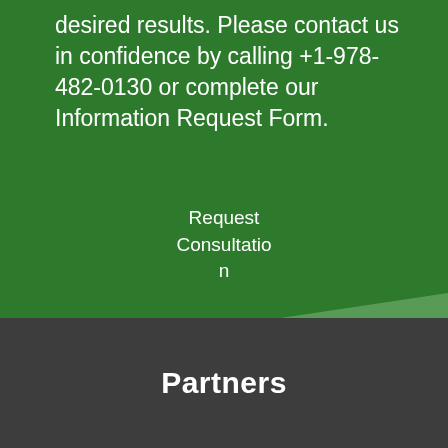desired results. Please contact us in confidence by calling +1-978-482-0130 or complete our Information Request Form.
Request Consultation
Partners